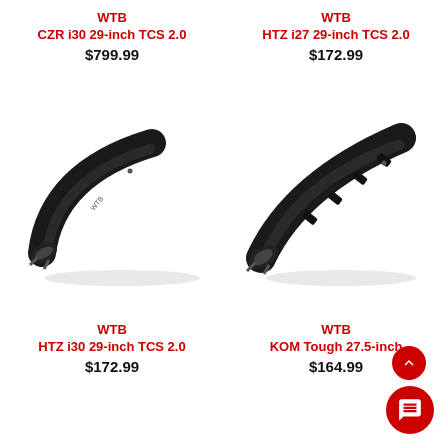WTB
CZR i30 29-inch TCS 2.0
$799.99
WTB
HTZ i27 29-inch TCS 2.0
$172.99
[Figure (photo): Two black bicycle rim segments (cross-section view) shown curved against white background. Left rim is WTB CZR i30, right rim is WTB HTZ i27.]
WTB
HTZ i30 29-inch TCS 2.0
$172.99
WTB
KOM Tough 27.5-inch
$164.99